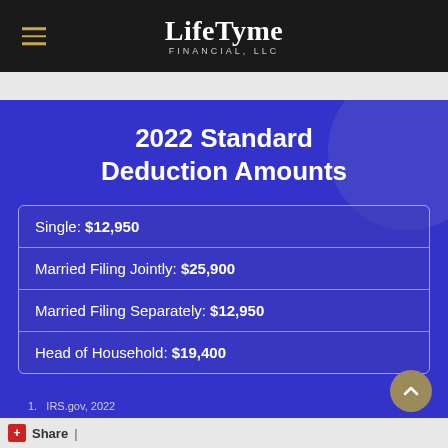LifeTyme FINANCIAL, LLC
2022 Standard Deduction Amounts
| Filing Status | Amount |
| --- | --- |
| Single: | $12,950 |
| Married Filing Jointly: | $25,900 |
| Married Filing Separately: | $12,950 |
| Head of Household: | $19,400 |
1.   IRS.gov, 2022